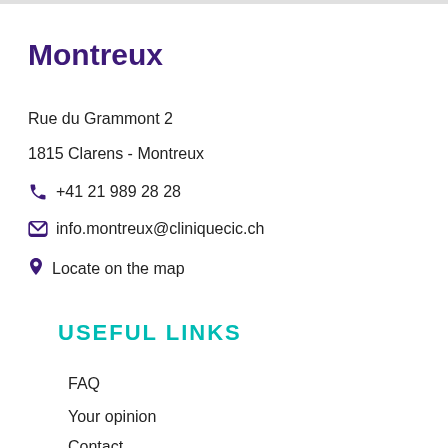Montreux
Rue du Grammont 2
1815 Clarens - Montreux
+41 21 989 28 28
info.montreux@cliniquecic.ch
Locate on the map
USEFUL LINKS
FAQ
Your opinion
Contact